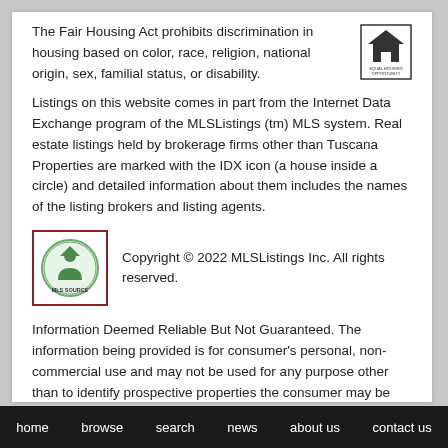The Fair Housing Act prohibits discrimination in housing based on color, race, religion, national origin, sex, familial status, or disability.
[Figure (logo): Equal Housing Opportunity logo — a house inside a square with 'EQUAL HOUSING OPPORTUNITY' text below]
Listings on this website comes in part from the Internet Data Exchange program of the MLSListings (tm) MLS system. Real estate listings held by brokerage firms other than Tuscana Properties are marked with the IDX icon (a house inside a circle) and detailed information about them includes the names of the listing brokers and listing agents.
[Figure (logo): MLSSource logo — circular badge with a house/person figure and 'MLS SOURCE' text, red border box]
Copyright © 2022 MLSListings Inc. All rights reserved.
Information Deemed Reliable But Not Guaranteed. The information being provided is for consumer's personal, non-commercial use and may not be used for any purpose other than to identify prospective properties the consumer may be interested in purchasing.
home   browse   search   news   about us   contact us